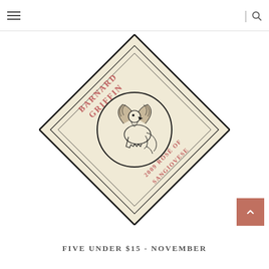Navigation menu and search icon
[Figure (illustration): Diamond-shaped wine label for Barnard Griffin 2009 Rosé of Sangiovese. The label is cream/beige colored in a rotated square (diamond) shape with a double-line border. In red/salmon-colored stylized lettering around the top half: 'BARNARD GRIFFIN'. Around the bottom half: '2009 ROSÉ OF SANGIOVESE'. In the center is a circular medallion containing a detailed black ink illustration of a griffin (mythical creature with eagle wings and lion body).]
FIVE UNDER $15 - NOVEMBER